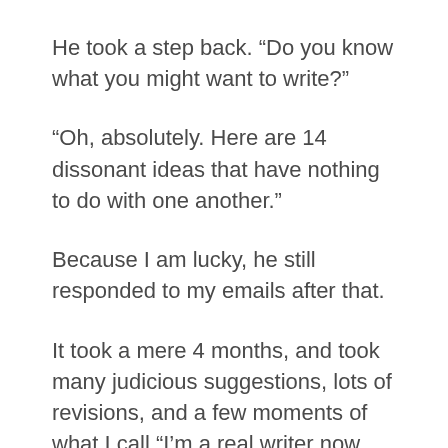He took a step back. “Do you know what you might want to write?”
“Oh, absolutely. Here are 14 dissonant ideas that have nothing to do with one another.”
Because I am lucky, he still responded to my emails after that.
It took a mere 4 months, and took many judicious suggestions, lots of revisions, and a few moments of what I call “I’m a real writer now wheee” breakthroughs then I jumped out of bed at 1 am, started pounding on the keyboard with tears running down my face,